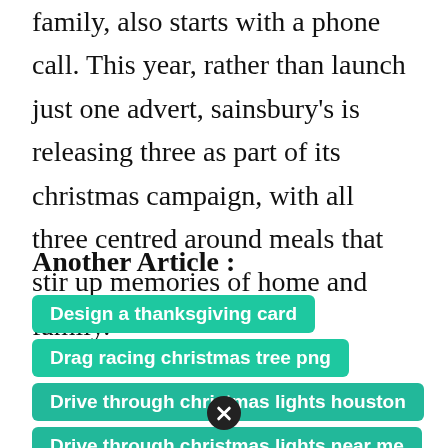family, also starts with a phone call. This year, rather than launch just one advert, sainsbury's is releasing three as part of its christmas campaign, with all three centred around meals that stir up memories of home and family.
Another Article :
Design a thanksgiving card
Drag racing christmas tree png
Drive through christmas lights houston
Drive through christmas lights near me
Drive from the christian christmas t...